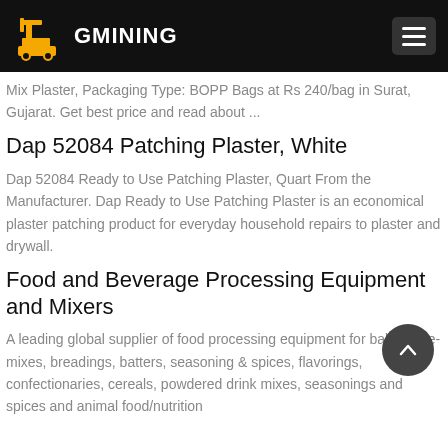GMINING
Mix Plaster, Packaging Type: BOPP Bags at Rs 240/bag in Surat, Gujarat. Get best price and read about ...
Dap 52084 Patching Plaster, White
Dap 52084 Ready to Use Patching Plaster, Quart From the Manufacturer. Dap Ready to Use Patching Plaster is an economical plaster patching product for everyday household repairs to plaster and drywall.
Food and Beverage Processing Equipment and Mixers
A leading global supplier of food processing equipment for bakery pre-mixes, breadings, batters, seasoning & spices, flavorings, confectionaries, cereals, powdered drink mixes, seasonings and spices and animal food/nutrition